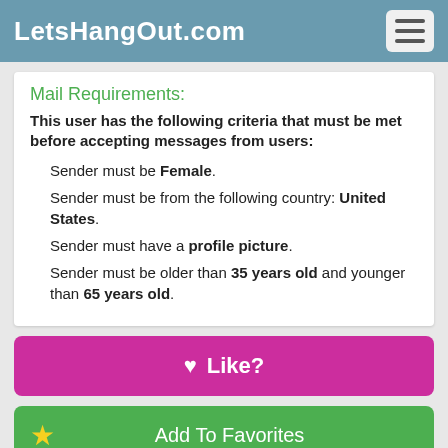LetsHangOut.com
Mail Requirements:
This user has the following criteria that must be met before accepting messages from users:
Sender must be Female.
Sender must be from the following country: United States.
Sender must have a profile picture.
Sender must be older than 35 years old and younger than 65 years old.
♥ Like?
★ Add To Favorites
Friends Request